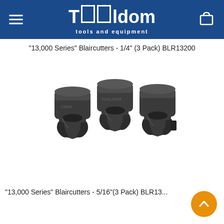Tooldom - tools and equipment
"13,000 Series" Blaircutters - 1/4" (3 Pack) BLR13200
[Figure (photo): Three dark grey cylindrical Blaircutter tool bits with cutting edges visible, arranged side by side on white background]
"13,000 Series" Blaircutters - 5/16"(3 Pack) BLR13...